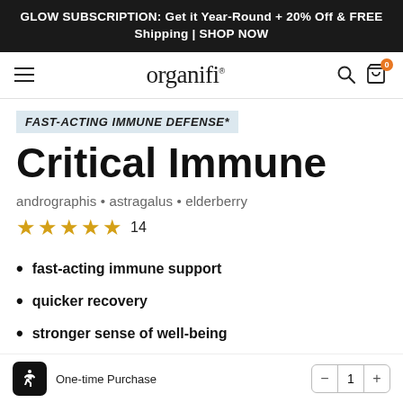GLOW SUBSCRIPTION: Get it Year-Round + 20% Off & FREE Shipping | SHOP NOW
[Figure (logo): Organifi logo with hamburger menu, search icon, and cart icon with badge showing 0]
FAST-ACTING IMMUNE DEFENSE*
Critical Immune
andrographis • astragalus • elderberry
★★★★★ 14
fast-acting immune support
quicker recovery
stronger sense of well-being
One-time Purchase